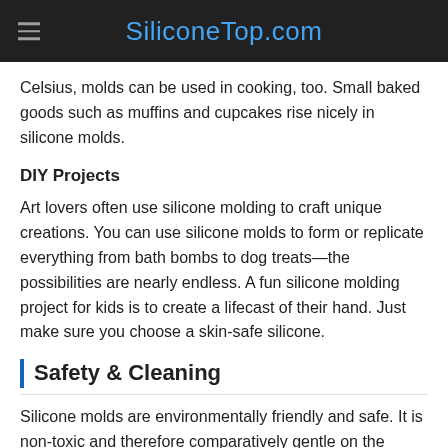SiliconeTop.com
Celsius, molds can be used in cooking, too. Small baked goods such as muffins and cupcakes rise nicely in silicone molds.
DIY Projects
Art lovers often use silicone molding to craft unique creations. You can use silicone molds to form or replicate everything from bath bombs to dog treats—the possibilities are nearly endless. A fun silicone molding project for kids is to create a lifecast of their hand. Just make sure you choose a skin-safe silicone.
Safety & Cleaning
Silicone molds are environmentally friendly and safe. It is non-toxic and therefore comparatively gentle on the environment. This is one of the reasons why...